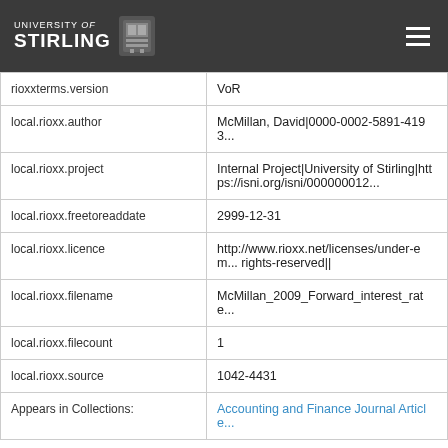UNIVERSITY of STIRLING
| Field | Value |
| --- | --- |
| rioxxterms.version | VoR |
| local.rioxx.author | McMillan, David|0000-0002-5891-4193... |
| local.rioxx.project | Internal Project|University of Stirling|https://isni.org/isni/000000012... |
| local.rioxx.freetoreaddate | 2999-12-31 |
| local.rioxx.licence | http://www.rioxx.net/licenses/under-em... rights-reserved|| |
| local.rioxx.filename | McMillan_2009_Forward_interest_rate... |
| local.rioxx.filecount | 1 |
| local.rioxx.source | 1042-4431 |
| Appears in Collections: | Accounting and Finance Journal Article... |